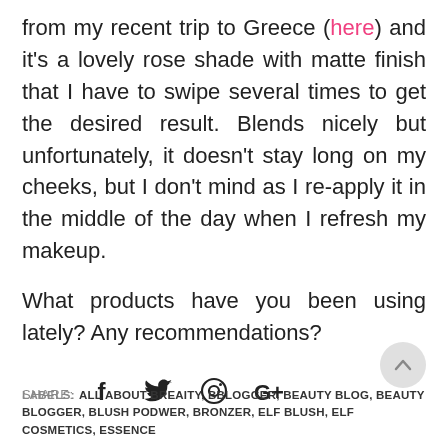from my recent trip to Greece (here) and it's a lovely rose shade with matte finish that I have to swipe several times to get the desired result. Blends nicely but unfortunately, it doesn't stay long on my cheeks, but I don't mind as I re-apply it in the middle of the day when I refresh my makeup.
What products have you been using lately? Any recommendations?
SHARE: [social icons: Facebook, Twitter, Pinterest, Google+]
LABELS: ALL ABOUT BREAITY, BBLOGGER, BEAUTY BLOG, BEAUTY BLOGGER, BLUSH PODWER, BRONZER, ELF BLUSH, ELF COSMETICS, ESSENCE